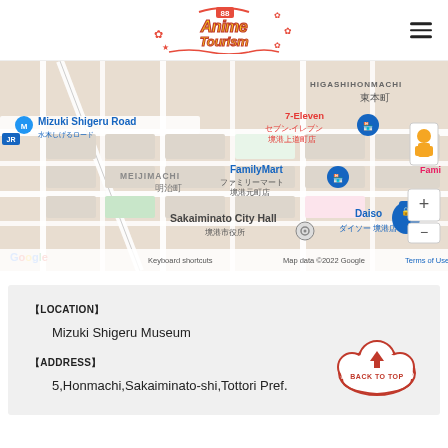AnimeTourism 88 logo and navigation
[Figure (map): Google Maps screenshot showing Mizuki Shigeru Road area in Sakaiminato, Japan, with landmarks including 7-Eleven, FamilyMart, Sakaiminato City Hall, and Daiso. District labels: HIGASHIHONMACHI, MEIJIMACHI (明治町). Map data ©2022 Google.]
【LOCATION】
Mizuki Shigeru Museum
【ADDRESS】
5,Honmachi,Sakaiminato-shi,Tottori Pref.